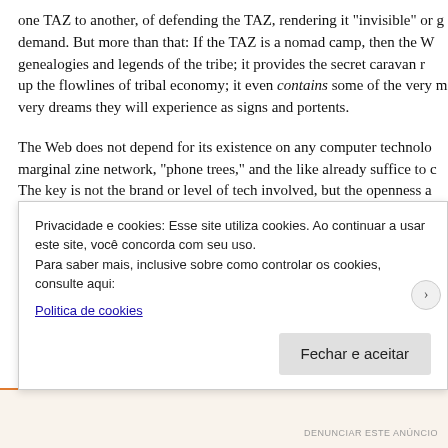one TAZ to another, of defending the TAZ, rendering it "invisible" or g... demand. But more than that: If the TAZ is a nomad camp, then the W... genealogies and legends of the tribe; it provides the secret caravan r... up the flowlines of tribal economy; it even contains some of the very m... very dreams they will experience as signs and portents.
The Web does not depend for its existence on any computer technolo... marginal zine network, "phone trees," and the like already suffice to c... The key is not the brand or level of tech involved, but the openness a... Nevertheless, the whole concept of the Net implies the use of comput... is headed for the condition of Cyberspace (as in Tron or Neuromance... "virtual reality." As a Cyberpunk fan I can't help but envision "reality ha... creation of TAZs. Like Gibson and Sterling I am assuming that the offi... shutting down the Web or the counter-Net–that data-piracy, authori...
Privacidade e cookies: Esse site utiliza cookies. Ao continuar a usar este site, você concorda com seu uso.
Para saber mais, inclusive sobre como controlar os cookies, consulte aqui:
Politica de cookies
Fechar e aceitar